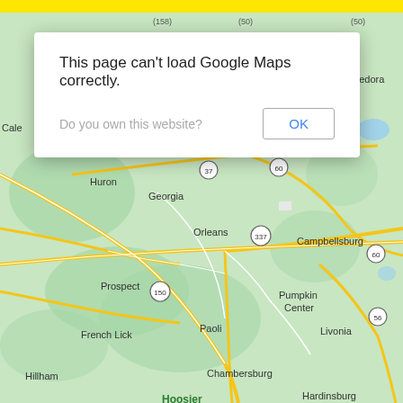[Figure (map): Google Maps screenshot showing a region of Indiana with towns including Huron, Georgia, Orleans, Campbellsburg, Prospect, French Lick, Paoli, Pumpkin Center, Livonia, Hillham, Chambersburg, Hardinsburg, Hoosier National Forest, and Medora. Yellow roads and route shields (37, 60, 337, 150, 56) visible. Map has green terrain background.]
This page can't load Google Maps correctly.
Do you own this website?
OK